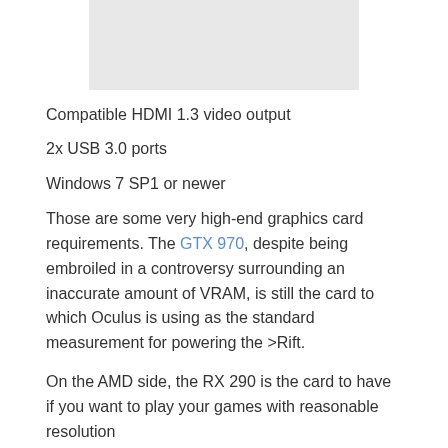[Figure (other): Gray placeholder image area at top of page]
Compatible HDMI 1.3 video output
2x USB 3.0 ports
Windows 7 SP1 or newer
Those are some very high-end graphics card requirements. The GTX 970, despite being embroiled in a controversy surrounding an inaccurate amount of VRAM, is still the card to which Oculus is using as the standard measurement for powering the >Rift.
On the AMD side, the RX 290 is the card to have if you want to play your games with reasonable resolution